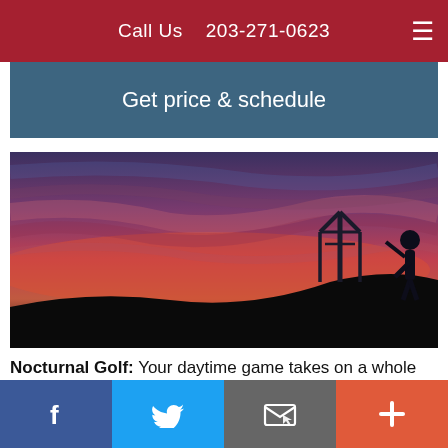Call Us   203-271-0623
Get price & schedule
[Figure (photo): Silhouette of a golfer and a flag post against a dramatic twilight sky with deep red, purple, and blue hues at night on a golf course.]
Nocturnal Golf: Your daytime game takes on a whole new dimension and thrill on the course under a starry sky at night with night vision goggles, sharing the course with rare wildlife. It's a privately guided experience limited to just 4 golfers who also gain new insight into the…
f  [Twitter]  [Email]  +